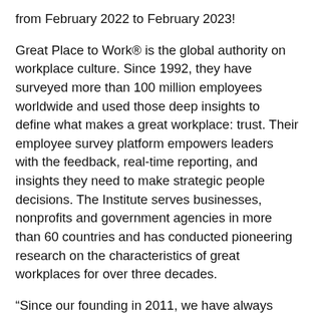from February 2022 to February 2023!
Great Place to Work® is the global authority on workplace culture. Since 1992, they have surveyed more than 100 million employees worldwide and used those deep insights to define what makes a great workplace: trust. Their employee survey platform empowers leaders with the feedback, real-time reporting, and insights they need to make strategic people decisions. The Institute serves businesses, nonprofits and government agencies in more than 60 countries and has conducted pioneering research on the characteristics of great workplaces for over three decades.
“Since our founding in 2011, we have always worked hard to ensure that Accion is an employee-centric organization where employees not only find professional growth but also purpose, happiness and work+life harmony. It is great to get recognition of this from a prestigious organization such as “Great Place to Work” and the continued trust of the employees.